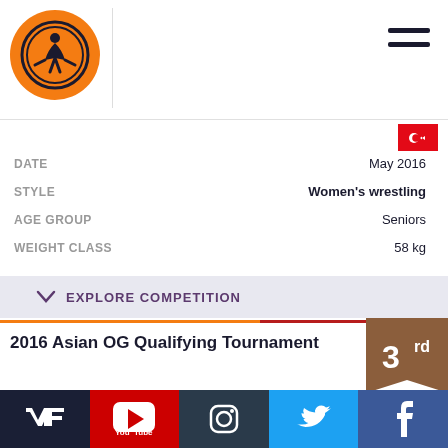UWW wrestling logo and navigation header
DATE: May 2016
STYLE: Women's wrestling
AGE GROUP: Seniors
WEIGHT CLASS: 58 kg
EXPLORE COMPETITION
2016 Asian OG Qualifying Tournament
COUNTRY: Kazakhstan
DATE: March 2016
STYLE: Women's wrestling
AGE GROUP: Seniors
WEIGHT CLASS: 58 kg
VK YouTube Instagram Twitter Facebook social media links